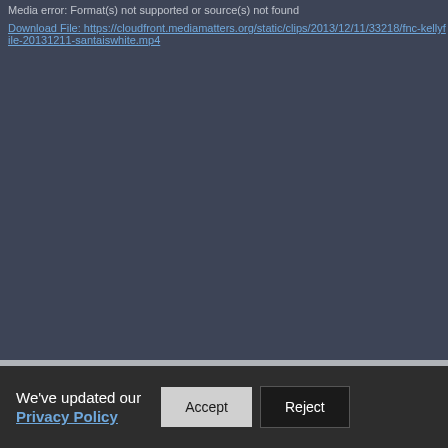Media error: Format(s) not supported or source(s) not found
Download File: https://cloudfront.mediamatters.org/static/clips/2013/12/11/33218/fnc-kellyfile-20131211-santaiswhite.mp4
We've updated our Privacy Policy
Accept
Reject